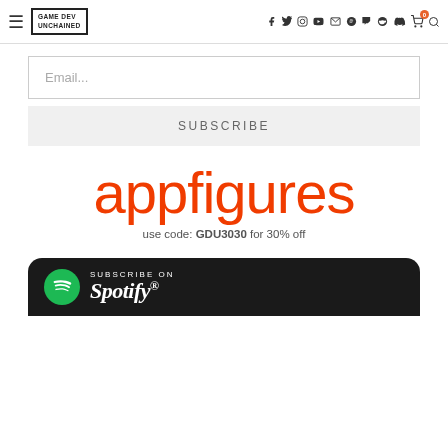Game Dev Unchained — navigation bar with hamburger menu, logo, social icons, cart, search
[Figure (screenshot): Email input field with placeholder text 'Email...']
SUBSCRIBE
[Figure (logo): appfigures logo in large orange text]
use code: GDU3030 for 30% off
[Figure (logo): Subscribe on Spotify banner with Spotify logo and wordmark]